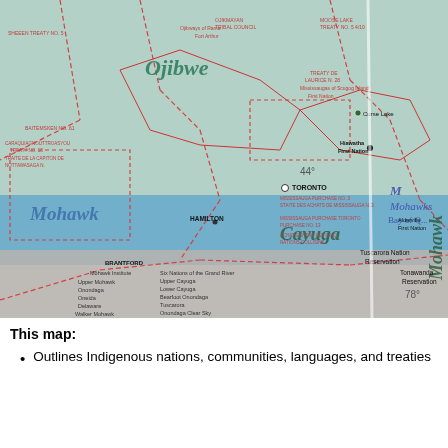[Figure (map): A photograph of a physical map showing Indigenous nations, territories, languages, and treaties in southern Ontario and nearby areas. The map shows place names including Ojibwe, Mohawk, Cayuga, Toronto, Hamilton, Brantford, Tuscarora Nation Reservation, Tonawanda Reservation, and various First Nations communities. Red dashed lines indicate treaty boundaries. Geographic labels include latitude markers 44° and 78°. Nations/communities listed include Six Nations of the Grand River, Upper Mohawk, Onondaga, Oneida, Delaware, Lower Cayuga, Upper Cayuga, Bearfoot Onondaga, Walker Mohawk, Lower Mohawk, Konadaha Seneca, Nharondaa Seneca, Mississaugas of the Credit, and Tuscarora.]
This map:
Outlines Indigenous nations, communities, languages, and treaties